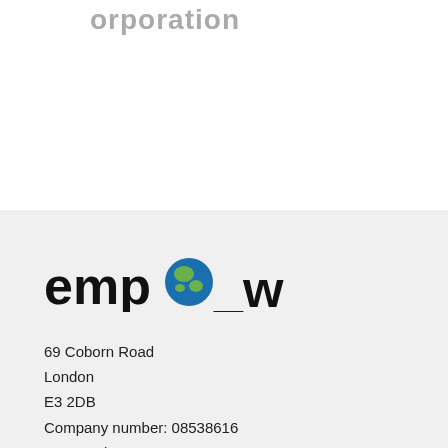orporation
[Figure (logo): Empower company logo — the word 'empower' in bold black lowercase sans-serif, with the letter 'o' replaced by a globe icon showing green land and blue ocean, and an underscore between 'emp' section and 'wer']
69 Coborn Road
London
E3 2DB
Company number: 08538616
VAT number: 168578829